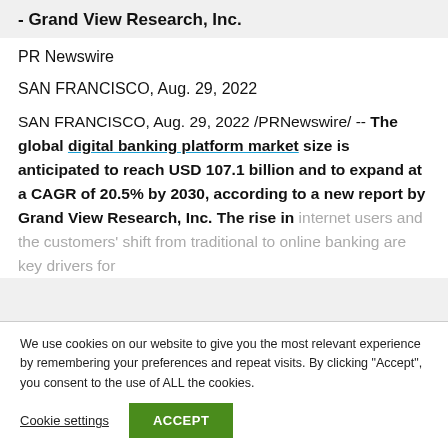- Grand View Research, Inc.
PR Newswire
SAN FRANCISCO, Aug. 29, 2022
SAN FRANCISCO, Aug. 29, 2022 /PRNewswire/ -- The global digital banking platform market size is anticipated to reach USD 107.1 billion and to expand at a CAGR of 20.5% by 2030, according to a new report by Grand View Research, Inc. The rise in internet users and the customers' shift from traditional to online banking are key drivers for
We use cookies on our website to give you the most relevant experience by remembering your preferences and repeat visits. By clicking "Accept", you consent to the use of ALL the cookies.
Cookie settings
ACCEPT